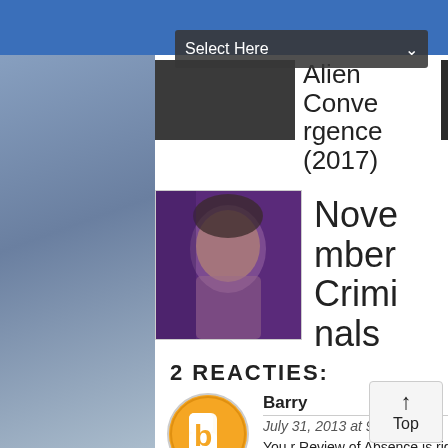[Figure (screenshot): Dropdown selector overlay with 'Select Here' label and down arrow, overlaid on movie thumbnails]
[Figure (screenshot): Movie thumbnail row showing 'Alien Convergence (2017)' with small dark image and 'Acts of Vengeance' with dark image]
[Figure (photo): Movie poster or still for 'November Criminals' showing a young person's face with purple toning]
November Criminals
2 REACTIES:
[Figure (illustration): Blogger avatar icon - orange circle with white 'b' symbol]
Barry
July 31, 2013 at 9:25 PM
You r Review of Absence is right on the money. But your quote below compelled me to comment. "My biggest problem with found footage movies is that